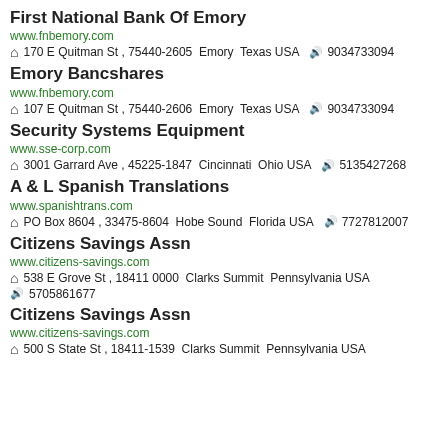First National Bank Of Emory
www.fnbemory.com
170 E Quitman St , 75440-2605  Emory  Texas USA    9034733094
Emory Bancshares
www.fnbemory.com
107 E Quitman St , 75440-2606  Emory  Texas USA    9034733094
Security Systems Equipment
www.sse-corp.com
3001 Garrard Ave , 45225-1847  Cincinnati  Ohio USA    5135427268
A & L Spanish Translations
www.spanishtrans.com
PO Box 8604 , 33475-8604  Hobe Sound  Florida USA    7727812007
Citizens Savings Assn
www.citizens-savings.com
538 E Grove St , 18411 0000  Clarks Summit  Pennsylvania USA    5705861677
Citizens Savings Assn
www.citizens-savings.com
500 S State St , 18411-1539  Clarks Summit  Pennsylvania USA